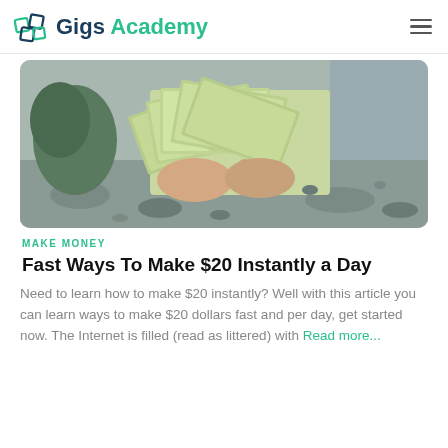Gigs Academy
[Figure (photo): Person holding a fan of US $20 dollar bills outdoors, with gravel/rocks in background]
MAKE MONEY
Fast Ways To Make $20 Instantly a Day
Need to learn how to make $20 instantly? Well with this article you can learn ways to make $20 dollars fast and per day, get started now. The Internet is filled (read as littered) with Read more...